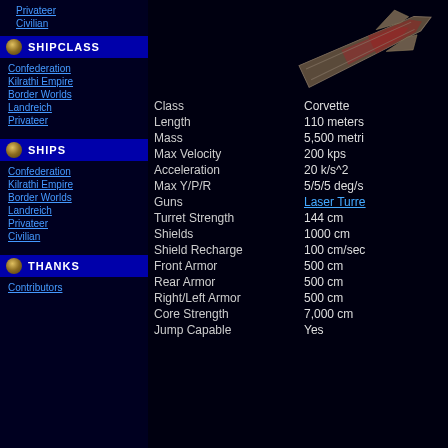Privateer
Civilian
SHIPCLASS
Confederation
Kilrathi Empire
Border Worlds
Landreich
Privateer
SHIPS
Confederation
Kilrathi Empire
Border Worlds
Landreich
Privateer
Civilian
THANKS
Contributors
[Figure (illustration): 3D rendered spaceship (corvette) shown from above at an angle, with reddish-brown hull markings, on black background]
| Property | Value |
| --- | --- |
| Class | Corvette |
| Length | 110 meters |
| Mass | 5,500 metri |
| Max Velocity | 200 kps |
| Acceleration | 20 k/s^2 |
| Max Y/P/R | 5/5/5 deg/s |
| Guns | Laser Turre |
| Turret Strength | 144 cm |
| Shields | 1000 cm |
| Shield Recharge | 100 cm/sec |
| Front Armor | 500 cm |
| Rear Armor | 500 cm |
| Right/Left Armor | 500 cm |
| Core Strength | 7,000 cm |
| Jump Capable | Yes |